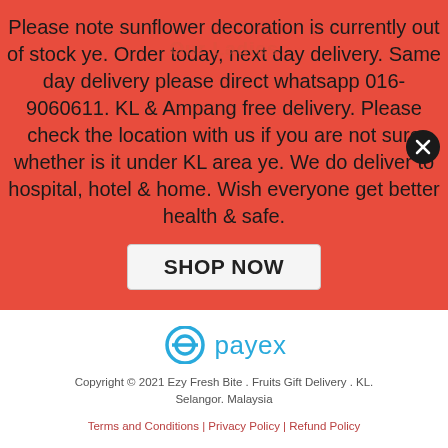Please note sunflower decoration is currently out of stock ye. Order today, next day delivery. Same day delivery please direct whatsapp 016-9060611. KL & Ampang free delivery. Please check the location with us if you are not sure whether is it under KL area ye. We do deliver to hospital, hotel & home. Wish everyone get better health & safe.
SHOP NOW
[Figure (logo): Payex payment logo with circular icon and 'payex' text in blue]
Copyright © 2021 Ezy Fresh Bite . Fruits Gift Delivery . KL. Selangor. Malaysia
Terms and Conditions | Privacy Policy | Refund Policy